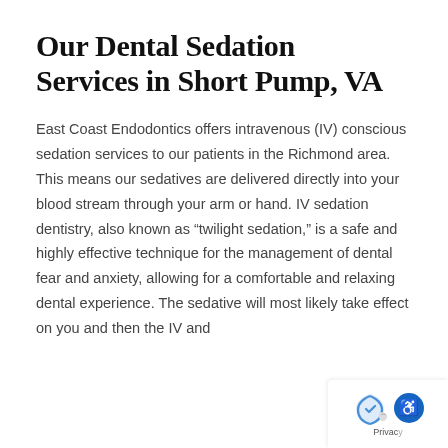Our Dental Sedation Services in Short Pump, VA
East Coast Endodontics offers intravenous (IV) conscious sedation services to our patients in the Richmond area. This means our sedatives are delivered directly into your blood stream through your arm or hand. IV sedation dentistry, also known as “twilight sedation,” is a safe and highly effective technique for the management of dental fear and anxiety, allowing for a comfortable and relaxing dental experience. The sedative will most likely take effect on you and then the IV and